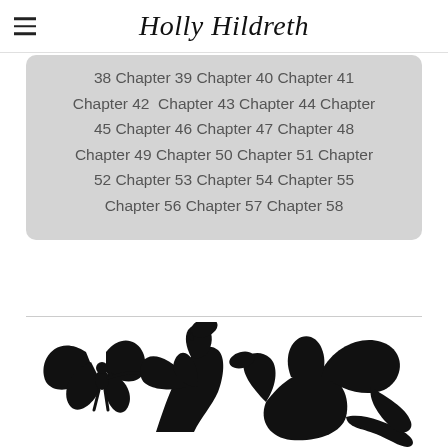Holly Hildreth
38 Chapter 39 Chapter 40 Chapter 41 Chapter 42 Chapter 43 Chapter 44 Chapter 45 Chapter 46 Chapter 47 Chapter 48 Chapter 49 Chapter 50 Chapter 51 Chapter 52 Chapter 53 Chapter 54 Chapter 55 Chapter 56 Chapter 57 Chapter 58
[Figure (illustration): Black silhouette illustration of a fairy with wings facing a dragon, with a second large dragon with spread wings on the right side]